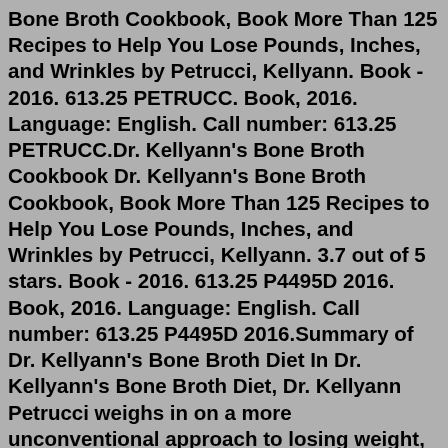Bone Broth Cookbook, Book More Than 125 Recipes to Help You Lose Pounds, Inches, and Wrinkles by Petrucci, Kellyann. Book - 2016. 613.25 PETRUCC. Book, 2016. Language: English. Call number: 613.25 PETRUCC.Dr. Kellyann's Bone Broth Cookbook Dr. Kellyann's Bone Broth Cookbook, Book More Than 125 Recipes to Help You Lose Pounds, Inches, and Wrinkles by Petrucci, Kellyann. 3.7 out of 5 stars. Book - 2016. 613.25 P4495D 2016. Book, 2016. Language: English. Call number: 613.25 P4495D 2016.Summary of Dr. Kellyann's Bone Broth Diet In Dr. Kellyann's Bone Broth Diet, Dr. Kellyann Petrucci weighs in on a more unconventional approach to losing weight, staying young, and feeling good generally. ... The writing is entertaining yet punctuated with the ring of truth throughout. The cookbook is user-friendly and presented an accessible ...In Dr. Kellyann's Bone Broth Cookbook, you'll discover even more recipes to help you burn fat, heal your gut, and tighten your skin. Each meal is as mouth-watering as it is packed with...